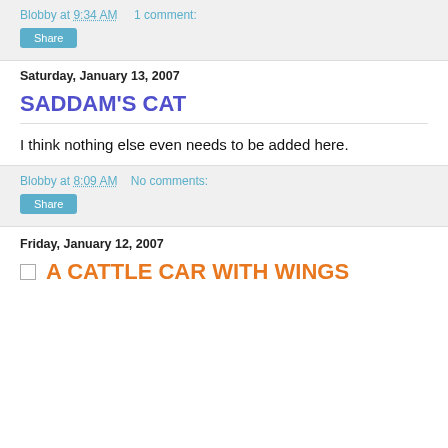Blobby at 9:34 AM    1 comment:
Share
Saturday, January 13, 2007
SADDAM'S CAT
I think nothing else even needs to be added here.
Blobby at 8:09 AM    No comments:
Share
Friday, January 12, 2007
A CATTLE CAR WITH WINGS